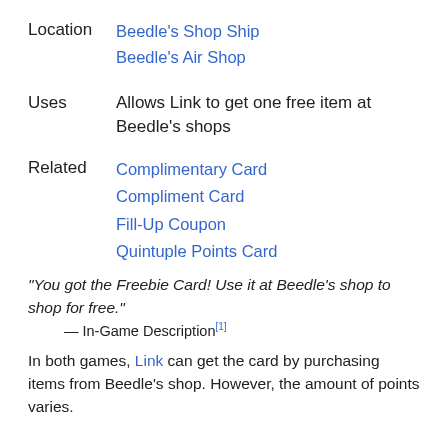Location
Beedle's Shop Ship
Beedle's Air Shop
Uses
Allows Link to get one free item at Beedle's shops
Related
Complimentary Card
Compliment Card
Fill-Up Coupon
Quintuple Points Card
"You got the Freebie Card! Use it at Beedle's shop to shop for free."
— In-Game Description[1]
In both games, Link can get the card by purchasing items from Beedle's shop. However, the amount of points varies.